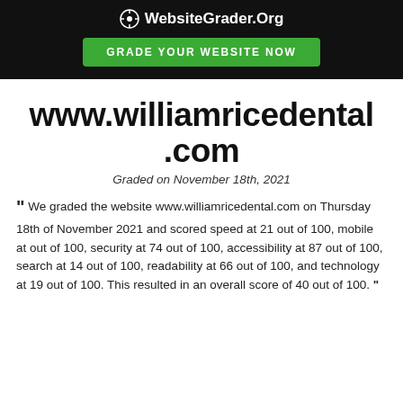WebsiteGrader.Org
GRADE YOUR WEBSITE NOW
www.williamricedental.com
Graded on November 18th, 2021
“ We graded the website www.williamricedental.com on Thursday 18th of November 2021 and scored speed at 21 out of 100, mobile at out of 100, security at 74 out of 100, accessibility at 87 out of 100, search at 14 out of 100, readability at 66 out of 100, and technology at 19 out of 100. This resulted in an overall score of 40 out of 100. ”